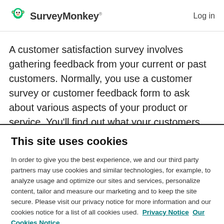SurveyMonkey  Log in
A customer satisfaction survey involves gathering feedback from your current or past customers. Normally, you use a customer survey or customer feedback form to ask about various aspects of your product or service. You’ll find out what your customers think and say about you. This means they’re essential for understanding where
This site uses cookies
In order to give you the best experience, we and our third party partners may use cookies and similar technologies, for example, to analyze usage and optimize our sites and services, personalize content, tailor and measure our marketing and to keep the site secure. Please visit our privacy notice for more information and our cookies notice for a list of all cookies used.  Privacy Notice  Our Cookies Notice